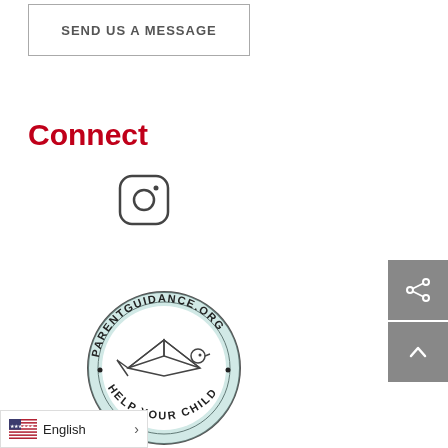SEND US A MESSAGE
Connect
[Figure (logo): Instagram icon — rounded square outline with circle inside]
[Figure (logo): ParentGuidance.org circular logo with bird/dove illustration and text PARENTGUIDANCE.ORG • HELP YOUR CHILD •]
English